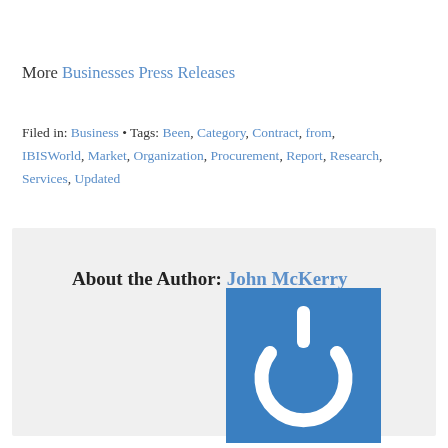More Businesses Press Releases
Filed in: Business • Tags: Been, Category, Contract, from, IBISWorld, Market, Organization, Procurement, Report, Research, Services, Updated
About the Author: John McKerry
[Figure (logo): Blue square with white power button icon]